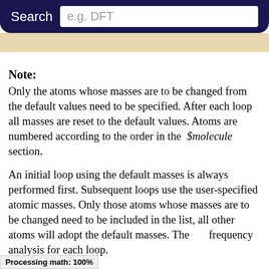Search   e.g. DFT
Note:
Only the atoms whose masses are to be changed from the default values need to be specified. After each loop all masses are reset to the default values. Atoms are numbered according to the order in the $molecule section.
An initial loop using the default masses is always performed first. Subsequent loops use the user-specified atomic masses. Only those atoms whose masses are to be changed need to be included in the list, all other atoms will adopt the default masses. The ... frequency analysis for each loop.
Processing math: 100%